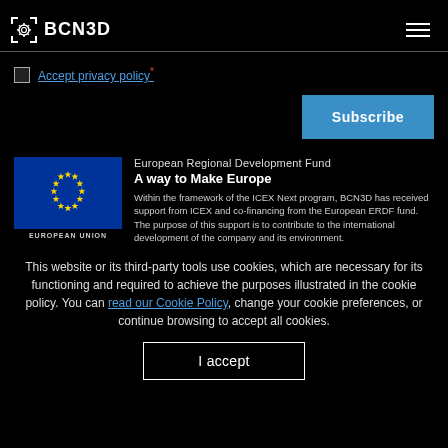BCN3D
Accept privacy policy*
Subscribe
[Figure (logo): European Union flag with EUROPEAN UNION label]
European Regional Development Fund
A way to Make Europe
Within the framework of the ICEX Next program, BCN3D has received support from ICEX and co-financing from the European ERDF fund. The purpose of this support is to contribute to the international development of the company and its environment.
This website or its third-party tools use cookies, which are necessary for its functioning and required to achieve the purposes illustrated in the cookie policy. You can read our Cookie Policy, change your cookie preferences, or continue browsing to accept all cookies.
I accept